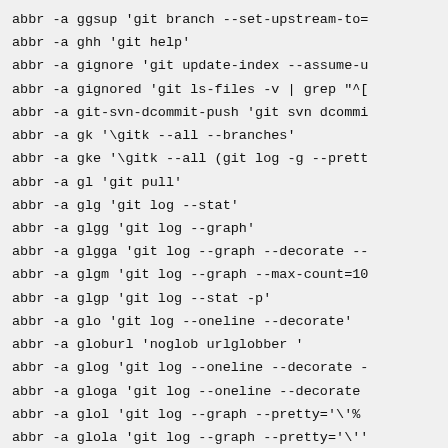abbr -a ggsup 'git branch --set-upstream-to=
abbr -a ghh 'git help'
abbr -a gignore 'git update-index --assume-u
abbr -a gignored 'git ls-files -v | grep "^[
abbr -a git-svn-dcommit-push 'git svn dcommi
abbr -a gk '\gitk --all --branches'
abbr -a gke '\gitk --all (git log -g --prett
abbr -a gl 'git pull'
abbr -a glg 'git log --stat'
abbr -a glgg 'git log --graph'
abbr -a glgga 'git log --graph --decorate --
abbr -a glgm 'git log --graph --max-count=10
abbr -a glgp 'git log --stat -p'
abbr -a glo 'git log --oneline --decorate'
abbr -a globurl 'noglob urlglobber '
abbr -a glog 'git log --oneline --decorate -
abbr -a gloga 'git log --oneline --decorate
abbr -a glol 'git log --graph --pretty='\'%
abbr -a glola 'git log --graph --pretty='\'